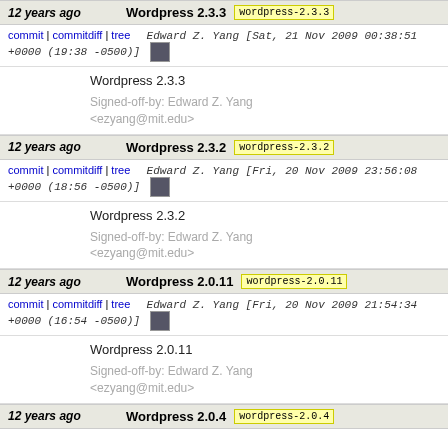12 years ago | Wordpress 2.3.3 [wordpress-2.3.3]
commit | commitdiff | tree   Edward Z. Yang [Sat, 21 Nov 2009 00:38:51 +0000 (19:38 -0500)]
Wordpress 2.3.3
Signed-off-by: Edward Z. Yang <ezyang@mit.edu>
12 years ago | Wordpress 2.3.2 [wordpress-2.3.2]
commit | commitdiff | tree   Edward Z. Yang [Fri, 20 Nov 2009 23:56:08 +0000 (18:56 -0500)]
Wordpress 2.3.2
Signed-off-by: Edward Z. Yang <ezyang@mit.edu>
12 years ago | Wordpress 2.0.11 [wordpress-2.0.11]
commit | commitdiff | tree   Edward Z. Yang [Fri, 20 Nov 2009 21:54:34 +0000 (16:54 -0500)]
Wordpress 2.0.11
Signed-off-by: Edward Z. Yang <ezyang@mit.edu>
12 years ago | Wordpress 2.0.4 [wordpress-2.0.4]